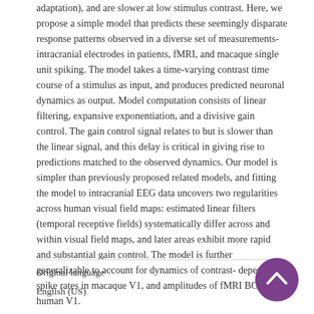adaptation), and are slower at low stimulus contrast. Here, we propose a simple model that predicts these seemingly disparate response patterns observed in a diverse set of measurements-intracranial electrodes in patients, fMRI, and macaque single unit spiking. The model takes a time-varying contrast time course of a stimulus as input, and produces predicted neuronal dynamics as output. Model computation consists of linear filtering, expansive exponentiation, and a divisive gain control. The gain control signal relates to but is slower than the linear signal, and this delay is critical in giving rise to predictions matched to the observed dynamics. Our model is simpler than previously proposed related models, and fitting the model to intracranial EEG data uncovers two regularities across human visual field maps: estimated linear filters (temporal receptive fields) systematically differ across and within visual field maps, and later areas exhibit more rapid and substantial gain control. The model is further generalizable to account for dynamics of contrast-dependent spike rates in macaque V1, and amplitudes of fMRI BOLD in human V1.
Original language
English (US)